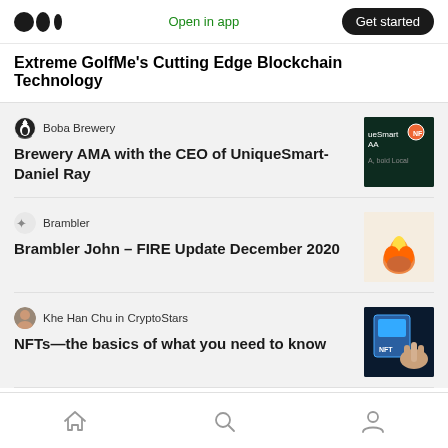Open in app | Get started
Extreme GolfMe's Cutting Edge Blockchain Technology
Boba Brewery
Brewery AMA with the CEO of UniqueSmart-Daniel Ray
Brambler
Brambler John – FIRE Update December 2020
Khe Han Chu in CryptoStars
NFTs—the basics of what you need to know
Home | Search | Profile